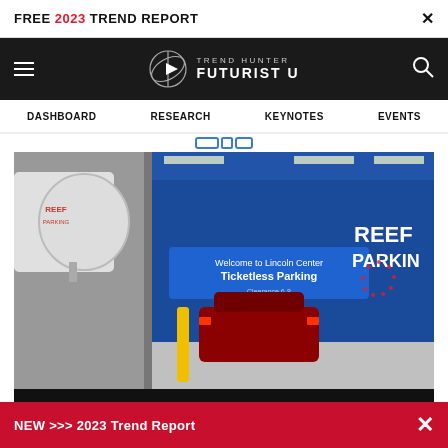FREE 2023 TREND REPORT ×
[Figure (logo): Trend Hunter Futurist U logo with navigation bar (hamburger menu, circular geometric logo, TREND HUNTER FUTURIST U text, search icon) on black background]
DASHBOARD   RESEARCH   KEYNOTES   EVENTS
[Figure (photo): Reef Parking ticketless parking facility entrance. A car drives through a blue-walled parking garage entrance with a sign reading 'Welcome to Lincoln Center Ticketless Parking Clearance 6-8'. Reef Parking logo visible. A security camera is visible in the foreground left.]
NEW >>> 2023 Trend Report ×